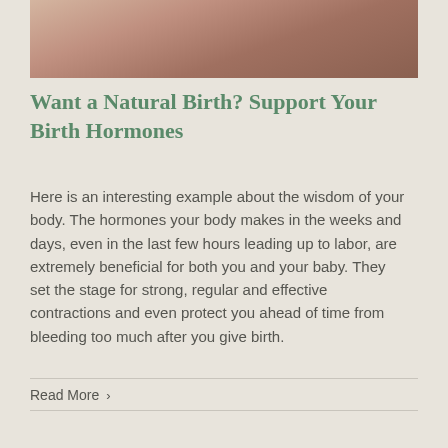[Figure (photo): Close-up photo of hands or body, partially visible at top of page]
Want a Natural Birth? Support Your Birth Hormones
Here is an interesting example about the wisdom of your body. The hormones your body makes in the weeks and days, even in the last few hours leading up to labor, are extremely beneficial for both you and your baby. They set the stage for strong, regular and effective contractions and even protect you ahead of time from bleeding too much after you give birth.
Read More >